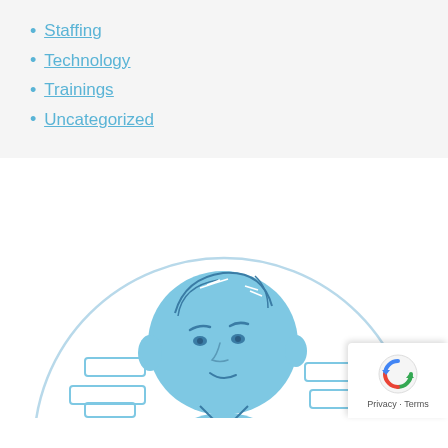Staffing
Technology
Trainings
Uncategorized
[Figure (illustration): Blue illustrated character of a person (upper body) looking slightly downward, with a circular background arc and UI/interface placeholder rectangles around them. A reCAPTCHA Privacy-Terms badge is in the bottom-right corner.]